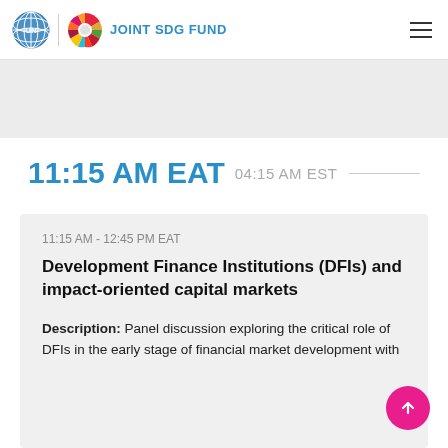JOINT SDG FUND
11:15 AM EAT  04:15 AM EST
11:15 AM - 12:45 PM EAT
Development Finance Institutions (DFIs) and impact-oriented capital markets
Description: Panel discussion exploring the critical role of DFIs in the early stage of financial market development with